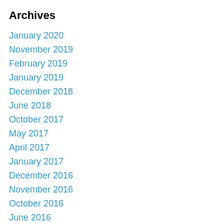Archives
January 2020
November 2019
February 2019
January 2019
December 2018
June 2018
October 2017
May 2017
April 2017
January 2017
December 2016
November 2016
October 2016
June 2016
May 2016
April 2016
February 2016
January 2016